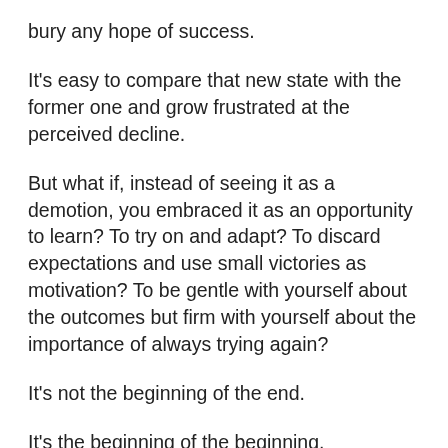bury any hope of success.
It's easy to compare that new state with the former one and grow frustrated at the perceived decline.
But what if, instead of seeing it as a demotion, you embraced it as an opportunity to learn? To try on and adapt? To discard expectations and use small victories as motivation? To be gentle with yourself about the outcomes but firm with yourself about the importance of always trying again?
It's not the beginning of the end.
It's the beginning of the beginning.